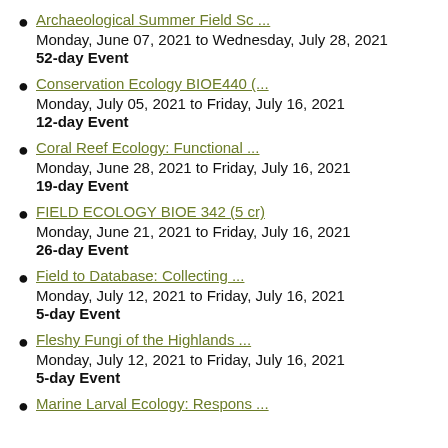Archaeological Summer Field Sc ...
Monday, June 07, 2021 to Wednesday, July 28, 2021
52-day Event
Conservation Ecology BIOE440 (...
Monday, July 05, 2021 to Friday, July 16, 2021
12-day Event
Coral Reef Ecology: Functional ...
Monday, June 28, 2021 to Friday, July 16, 2021
19-day Event
FIELD ECOLOGY BIOE 342 (5 cr)
Monday, June 21, 2021 to Friday, July 16, 2021
26-day Event
Field to Database: Collecting ...
Monday, July 12, 2021 to Friday, July 16, 2021
5-day Event
Fleshy Fungi of the Highlands ...
Monday, July 12, 2021 to Friday, July 16, 2021
5-day Event
Marine Larval Ecology: Respons ...